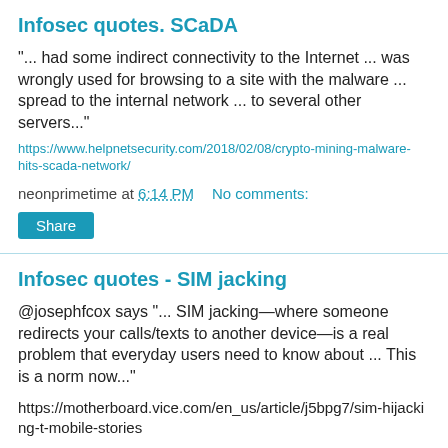Infosec quotes. SCaDA
“... had some indirect connectivity to the Internet ... was wrongly used for browsing to a site with the malware ... spread to the internal network ... to several other servers...”
https://www.helpnetsecurity.com/2018/02/08/crypto-mining-malware-hits-scada-network/
neonprimetime at 6:14 PM   No comments:
Share
Infosec quotes - SIM jacking
@josephfcox says “... SIM jacking—where someone redirects your calls/texts to another device—is a real problem that everyday users need to know about ... This is a norm now...”
https://motherboard.vice.com/en_us/article/j5bpg7/sim-hijacking-t-mobile-stories